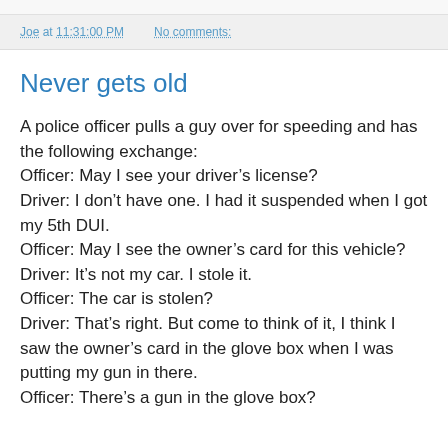Joe at 11:31:00 PM    No comments:
Never gets old
A police officer pulls a guy over for speeding and has the following exchange:
Officer: May I see your driver’s license?
Driver: I don’t have one. I had it suspended when I got my 5th DUI.
Officer: May I see the owner’s card for this vehicle?
Driver: It’s not my car. I stole it.
Officer: The car is stolen?
Driver: That’s right. But come to think of it, I think I saw the owner’s card in the glove box when I was putting my gun in there.
Officer: There’s a gun in the glove box?